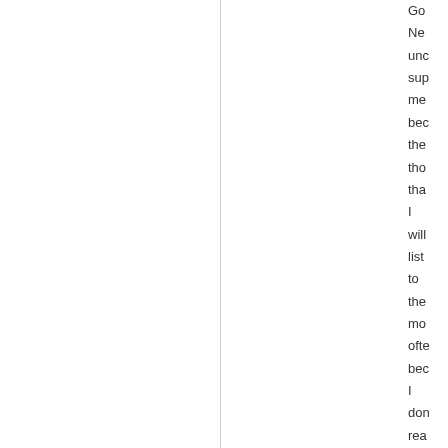Go Ne unc sup me bec the tho tha I will list to the mo ofte bec I don rea can abc pol The As: